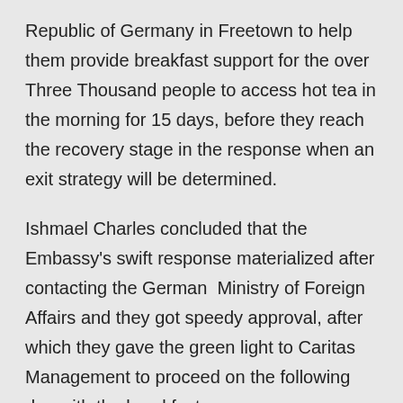Republic of Germany in Freetown to help them provide breakfast support for the over Three Thousand people to access hot tea in the morning for 15 days, before they reach the recovery stage in the response when an exit strategy will be determined.
Ishmael Charles concluded that the Embassy's swift response materialized after contacting the German  Ministry of Foreign Affairs and they got speedy approval, after which they gave the green light to Caritas Management to proceed on the following day with the breakfast.